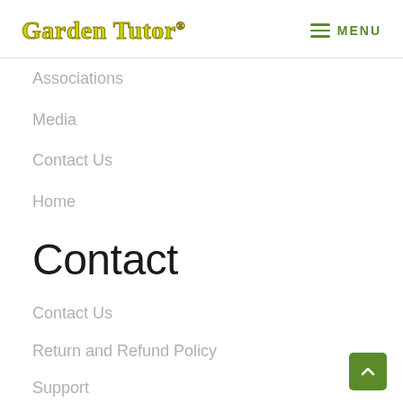Garden Tutor® MENU
Associations
Media
Contact Us
Home
Contact
Contact Us
Return and Refund Policy
Support